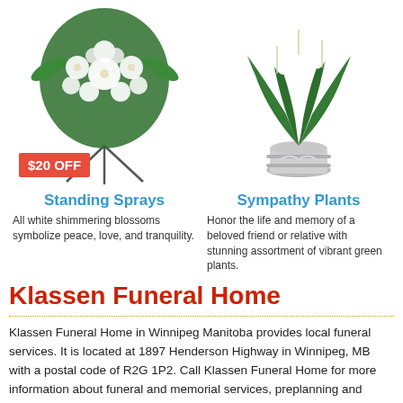[Figure (photo): White floral standing spray arrangement on a tripod stand with green foliage, with a red '$20 OFF' discount badge overlay]
[Figure (photo): Peace lily sympathy plant in a white decorative urn pot with green leaves and white blooms]
Standing Sprays
All white shimmering blossoms symbolize peace, love, and tranquility.
Sympathy Plants
Honor the life and memory of a beloved friend or relative with stunning assortment of vibrant green plants.
Klassen Funeral Home
Klassen Funeral Home in Winnipeg Manitoba provides local funeral services. It is located at 1897 Henderson Highway in Winnipeg, MB with a postal code of R2G 1P2. Call Klassen Funeral Home for more information about funeral and memorial services, preplanning and funeral arrangements. Before visiting the funeral home, be sure to verify its address, hours of